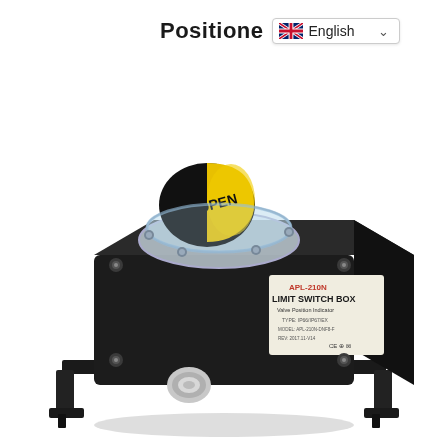Positione
[Figure (screenshot): Language selector dropdown showing UK flag and 'English' with a chevron/dropdown arrow]
[Figure (photo): APL-210N Limit Switch Box / Valve Position Indicator, model number visible on label. Black enclosure with yellow and black dome indicator showing 'OPEN', clear protective dome cover, multiple mounting bolts, cable entry port, mounted on black bracket/base. Industrial valve position limit switch box.]